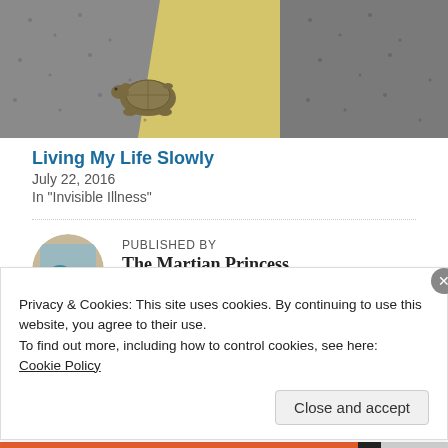[Figure (photo): A tortoise crossing a road with a yellow center line, surrounded by gravel and asphalt.]
Living My Life Slowly
July 22, 2016
In "Invisible Illness"
PUBLISHED BY
The Martian Princess
View all posts by The Martian Princess
Privacy & Cookies: This site uses cookies. By continuing to use this website, you agree to their use.
To find out more, including how to control cookies, see here:
Cookie Policy